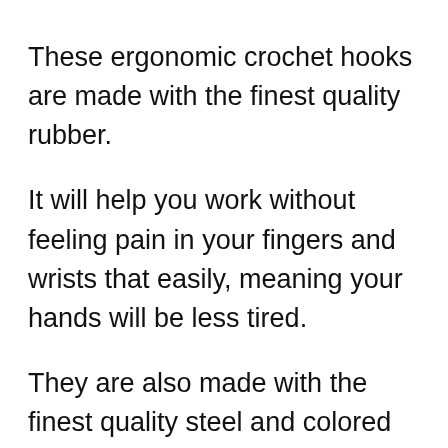These ergonomic crochet hooks are made with the finest quality rubber.
It will help you work without feeling pain in your fingers and wrists that easily, meaning your hands will be less tired.
They are also made with the finest quality steel and colored aluminum that is great for knitters and crocheters of any skill level.
Each of the metallic colors is marked based on the hook size and you can easily spot it, once